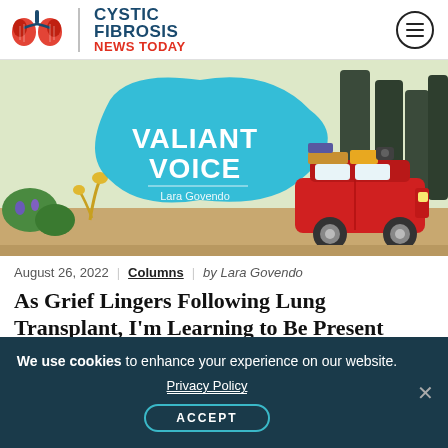[Figure (logo): Cystic Fibrosis News Today logo with lungs illustration and site name]
[Figure (illustration): Valiant Voice column banner illustration showing a cartoon red SUV on a road with trees, a large teal blob shape with 'VALIANT VOICE' text and 'Lara Govendo' subtitle]
August 26, 2022 | Columns | by Lara Govendo
As Grief Lingers Following Lung Transplant, I'm Learning to Be Present
We use cookies to enhance your experience on our website. Privacy Policy ACCEPT